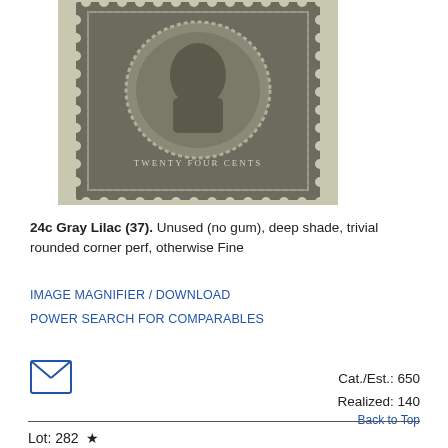[Figure (photo): Close-up photo of a 24c Gray Lilac US postage stamp (Scott #37), showing perforations and portrait design with 'TWENTY FOUR CENTS' text around the oval.]
24c Gray Lilac (37). Unused (no gum), deep shade, trivial rounded corner perf, otherwise Fine
IMAGE MAGNIFIER / DOWNLOAD
POWER SEARCH FOR COMPARABLES
[Figure (illustration): Envelope icon (small mail/email symbol)]
Cat./Est.: 650
Realized: 140
Back to Top
Lot: 282 ★